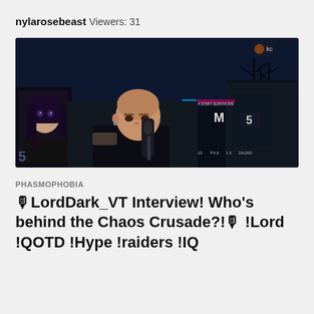nylarosebeast
Viewers: 31
[Figure (screenshot): Dark game screenshot of Phasmophobia showing a night scene with a streamer's face cam overlay. A person with a shaved head and tattoos is visible in front of a gaming microphone. An anime character portrait is on the left side. The game shows a dark outdoor night environment with game UI elements including M and 5 indicators, and stats at the bottom: 1/15, P4.6, 1.0, 16c268.]
PHASMOPHOBIA
🎙LordDark_VT Interview! Who's behind the Chaos Crusade?!🎙 !Lord !QOTD !Hype !raiders !IQ